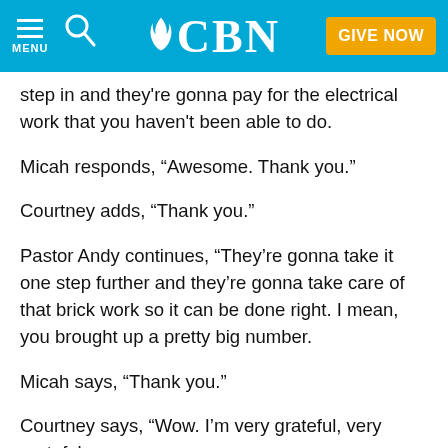MENU | [search] | CBN | GIVE NOW
step in and they're gonna pay for the electrical work that you haven't been able to do.
Micah responds, “Awesome. Thank you.”
Courtney adds, “Thank you.”
Pastor Andy continues, “They’re gonna take it one step further and they’re gonna take care of that brick work so it can be done right. I mean, you brought up a pretty big number.
Micah says, “Thank you.”
Courtney says, “Wow. I’m very grateful, very grateful. [continues]